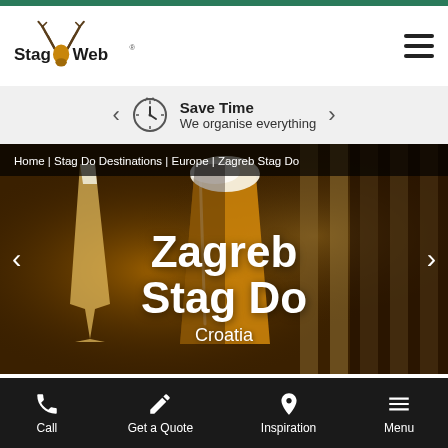StagWeb logo and hamburger menu
Save Time | We organise everything
Home | Stag Do Destinations | Europe | Zagreb Stag Do
[Figure (photo): Background photo of beer glasses in a bar setting with warm amber lighting]
Zagreb Stag Do
Croatia
Call | Get a Quote | Inspiration | Menu